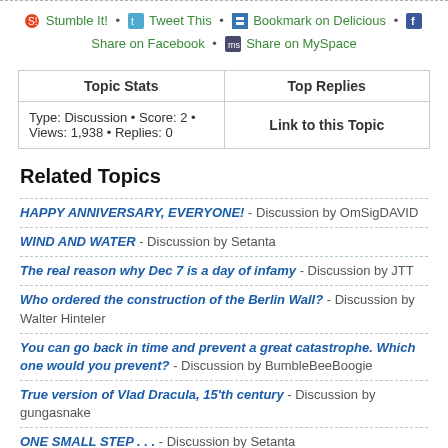Stumble It! • Tweet This • Bookmark on Delicious • Share on Facebook • Share on MySpace
| Topic Stats | Top Replies |
| --- | --- |
|  | Link to this Topic |
| Type: Discussion • Score: 2 • Views: 1,938 • Replies: 0 |  |
Related Topics
HAPPY ANNIVERSARY, EVERYONE! - Discussion by OmSigDAVID
WIND AND WATER - Discussion by Setanta
The real reason why Dec 7 is a day of infamy - Discussion by JTT
Who ordered the construction of the Berlin Wall? - Discussion by Walter Hinteler
You can go back in time and prevent a great catastrophe. Which one would you prevent? - Discussion by BumbleBeeBoogie
True version of Vlad Dracula, 15'th century - Discussion by gungasnake
ONE SMALL STEP . . . - Discussion by Setanta
History's worst villains: Edward III and the Black Prince -